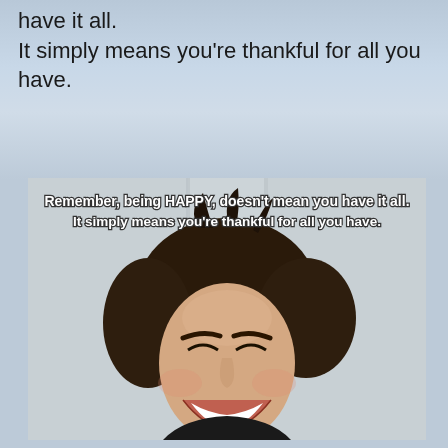have it all.
It simply means you're thankful for all you have.
[Figure (photo): A meme image showing a smiling/laughing woman with curly dark hair, overlaid with white bold text reading: 'Remember, being HAPPY, doesn't mean you have it all. It simply means you're thankful for all you have.' Background appears to be a light indoor setting.]